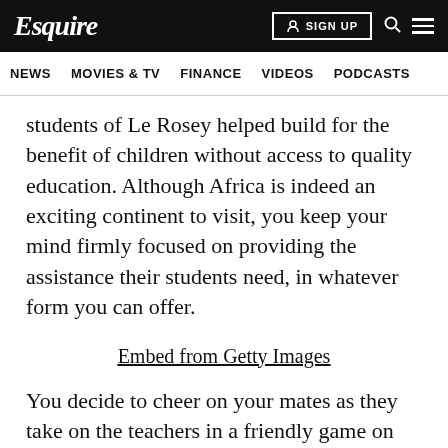Esquire | NEWS | MOVIES & TV | FINANCE | VIDEOS | PODCASTS
students of Le Rosey helped build for the benefit of children without access to quality education. Although Africa is indeed an exciting continent to visit, you keep your mind firmly focused on providing the assistance their students need, in whatever form you can offer.
Embed from Getty Images
You decide to cheer on your mates as they take on the teachers in a friendly game on the football pitch. The teachers win in decisive fashion, but Jonathan, in particular, put up a good fight for the